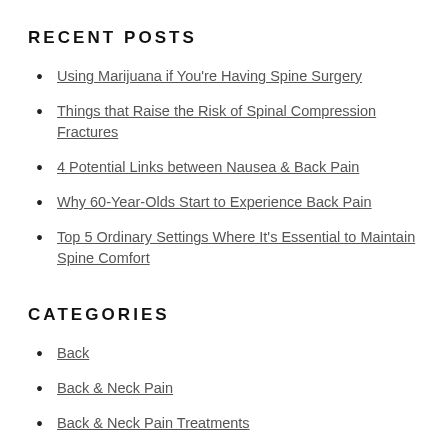RECENT POSTS
Using Marijuana if You're Having Spine Surgery
Things that Raise the Risk of Spinal Compression Fractures
4 Potential Links between Nausea & Back Pain
Why 60-Year-Olds Start to Experience Back Pain
Top 5 Ordinary Settings Where It's Essential to Maintain Spine Comfort
CATEGORIES
Back
Back & Neck Pain
Back & Neck Pain Treatments